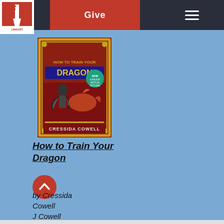[Figure (logo): North Wales Area Library logo — red and white lighthouse/beacon logo with text]
Give
[Figure (screenshot): Book cover of 'How to Train Your Dragon' by Cressida Cowell — red ornate cover with a Viking boy and dragon illustration, gold border decorations]
How to Train Your Dragon
by Cressida Cowell
J Cowell